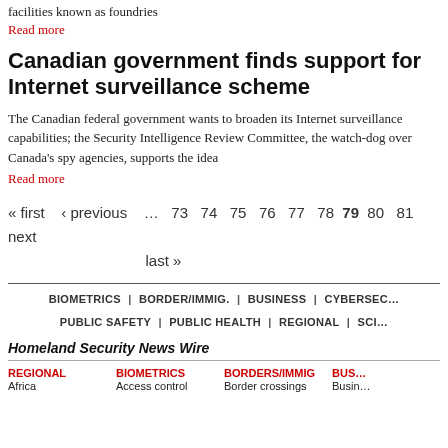facilities known as foundries
Read more
Canadian government finds support for Internet surveillance scheme
The Canadian federal government wants to broaden its Internet surveillance capabilities; the Security Intelligence Review Committee, the watch-dog over Canada's spy agencies, supports the idea
Read more
« first  ‹ previous  … 73 74 75 76 77 78 79 80 81 next  last »
BIOMETRICS | BORDER/IMMIG. | BUSINESS | CYBERSEC… PUBLIC SAFETY | PUBLIC HEALTH | REGIONAL | SCI…
Homeland Security News Wire
REGIONAL Africa | BIOMETRICS Access control | BORDERS/IMMIG Border crossings | BUS Busin…